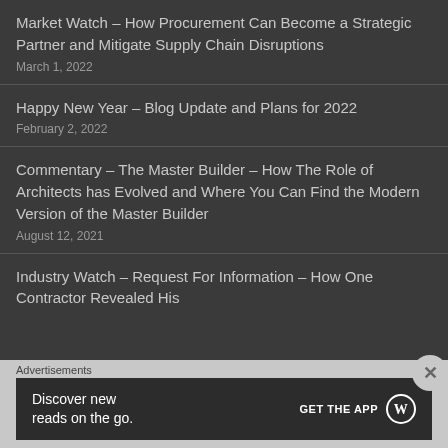Market Watch – How Procurement Can Become a Strategic Partner and Mitigate Supply Chain Disruptions
March 1, 2022
Happy New Year – Blog Update and Plans for 2022
February 2, 2022
Commentary – The Master Builder – How The Role of Architects has Evolved and Where You Can Find the Modern Version of the Master Builder
August 12, 2021
Industry Watch – Request For Information – How One Contractor Revealed His...
Advertisements
[Figure (other): WordPress app advertisement banner: 'Discover new reads on the go.' with 'GET THE APP' call to action and WordPress logo]